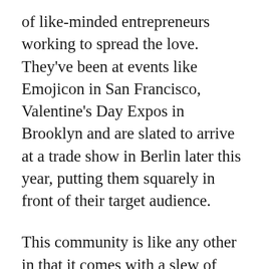of like-minded entrepreneurs working to spread the love. They've been at events like Emojicon in San Francisco, Valentine's Day Expos in Brooklyn and are slated to arrive at a trade show in Berlin later this year, putting them squarely in front of their target audience.
This community is like any other in that it comes with a slew of competitors trying to make the most buzz.
“There is the pressure to do what your predecessors have done because it’s